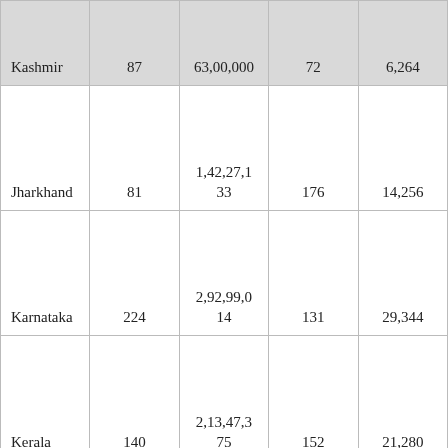| State | Constituencies | Population | Col4 | Col5 |
| --- | --- | --- | --- | --- |
| Kashmir | 87 | 63,00,000 | 72 | 6,264 |
| Jharkhand | 81 | 1,42,27,133 | 176 | 14,256 |
| Karnataka | 224 | 2,92,99,014 | 131 | 29,344 |
| Kerala | 140 | 2,13,47,375 | 152 | 21,280 |
| Madhya Pradesh | 230 | 3,00,16,625 | 131 | 30,130 |
| Maharasht |  | 5,04,12,2 |  |  |